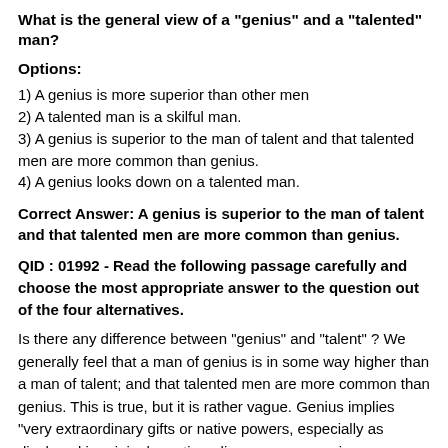What is the general view of a "genius" and a "talented" man?
Options:
1) A genius is more superior than other men
2) A talented man is a skilful man.
3) A genius is superior to the man of talent and that talented men are more common than genius.
4) A genius looks down on a talented man.
Correct Answer: A genius is superior to the man of talent and that talented men are more common than genius.
QID : 01992 - Read the following passage carefully and choose the most appropriate answer to the question out of the four alternatives.
Is there any difference between "genius" and "talent" ? We generally feel that a man of genius is in some way higher than a man of talent; and that talented men are more common than genius. This is true, but it is rather vague. Genius implies "very extraordinary gifts or native powers, especially as displayed in original creation, discovery, expression or achievement; phenomenal capacity regarded as relatively independent of instruction and training". Talent, on the other hand, consists of